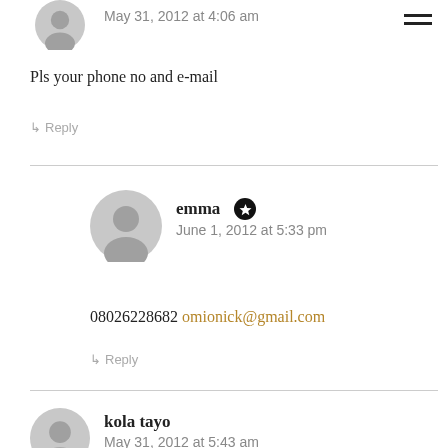[Figure (illustration): Grey avatar icon (partial, top-cropped)]
May 31, 2012 at 4:06 am
Pls your phone no and e-mail
↳ Reply
[Figure (illustration): Grey avatar icon for emma]
emma (starred author) — June 1, 2012 at 5:33 pm
08026228682 omionick@gmail.com
↳ Reply
[Figure (illustration): Grey avatar icon for kola tayo]
kola tayo — May 31, 2012 at 5:43 am